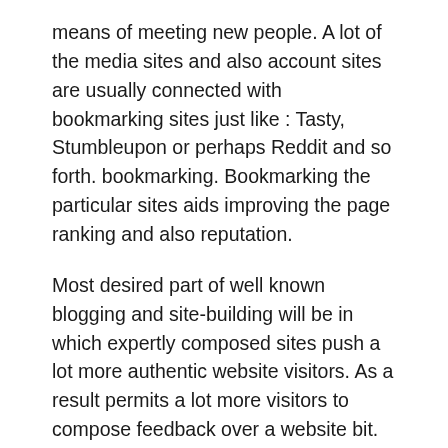means of meeting new people. A lot of the media sites and also account sites are usually connected with bookmarking sites just like : Tasty, Stumbleupon or perhaps Reddit and so forth. bookmarking. Bookmarking the particular sites aids improving the page ranking and also reputation.
Most desired part of well known blogging and site-building will be in which expertly composed sites push a lot more authentic website visitors. As a result permits a lot more visitors to compose feedback over a website bit. They could furthermore discuss their particular view and also tips in the community website rendering it a lot more energetic and also interactive as compared to private sites.